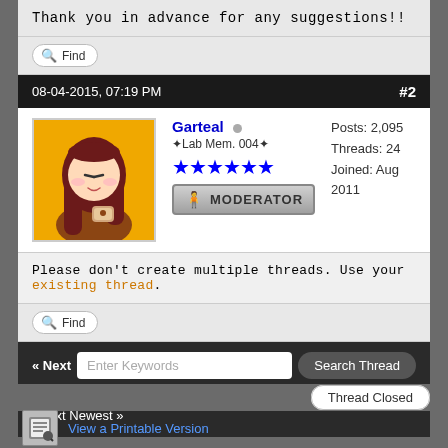Thank you in advance for any suggestions!!
Find
08-04-2015, 07:19 PM   #2
Garteal   Posts: 2,095   Threads: 24   Joined: Aug 2011   ✦Lab Mem. 004✦   ★★★★★★   MODERATOR
Please don't create multiple threads. Use your existing thread.
Find
« Next Oldest | Next Newest »  Enter Keywords  Search Thread
Thread Closed
View a Printable Version
Subscribe to this thread